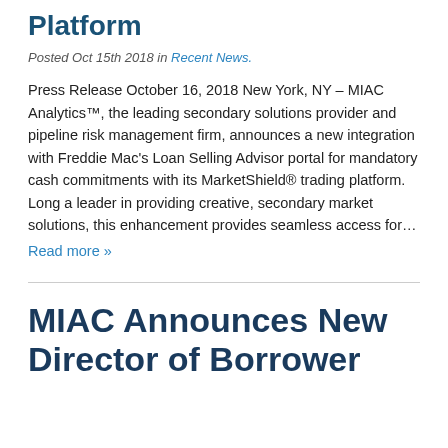Platform
Posted Oct 15th 2018 in Recent News.
Press Release October 16, 2018 New York, NY – MIAC Analytics™, the leading secondary solutions provider and pipeline risk management firm, announces a new integration with Freddie Mac's Loan Selling Advisor portal for mandatory cash commitments with its MarketShield® trading platform. Long a leader in providing creative, secondary market solutions, this enhancement provides seamless access for…
Read more »
MIAC Announces New Director of Borrower